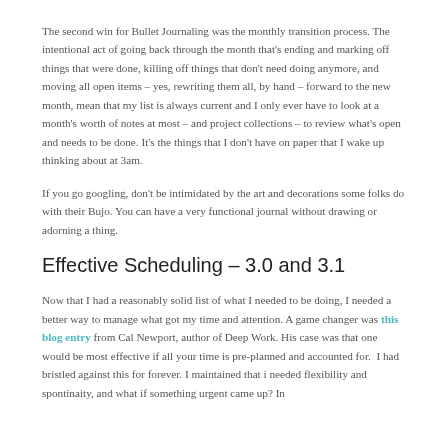The second win for Bullet Journaling was the monthly transition process. The intentional act of going back through the month that's ending and marking off things that were done, killing off things that don't need doing anymore, and moving all open items – yes, rewriting them all, by hand – forward to the new month, mean that my list is always current and I only ever have to look at a month's worth of notes at most – and project collections – to review what's open and needs to be done. It's the things that I don't have on paper that I wake up thinking about at 3am.
If you go googling, don't be intimidated by the art and decorations some folks do with their Bujo. You can have a very functional journal without drawing or adorning a thing.
Effective Scheduling – 3.0 and 3.1
Now that I had a reasonably solid list of what I needed to be doing, I needed a better way to manage what got my time and attention. A game changer was this blog entry from Cal Newport, author of Deep Work. His case was that one would be most effective if all your time is pre-planned and accounted for.  I had bristled against this for forever. I maintained that i needed flexibility and spontinaity, and what if something urgent came up? In